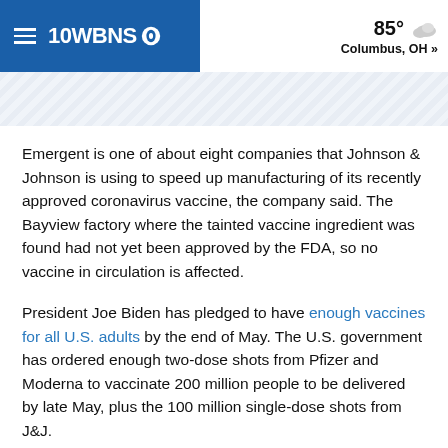10WBNS CBS — 85° Columbus, OH »
Emergent is one of about eight companies that Johnson & Johnson is using to speed up manufacturing of its recently approved coronavirus vaccine, the company said. The Bayview factory where the tainted vaccine ingredient was found had not yet been approved by the FDA, so no vaccine in circulation is affected.
President Joe Biden has pledged to have enough vaccines for all U.S. adults by the end of May. The U.S. government has ordered enough two-dose shots from Pfizer and Moderna to vaccinate 200 million people to be delivered by late May, plus the 100 million single-dose shots from J&J.
A federal official said Wednesday evening that the